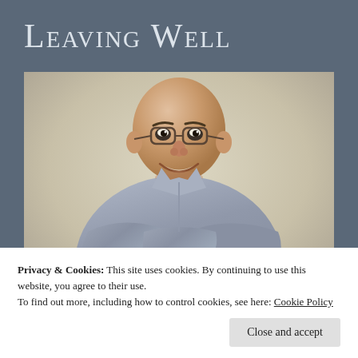Leaving Well
[Figure (photo): A bald middle-aged man wearing glasses and a grey button-up shirt, smiling with arms crossed, photographed against a beige/cream background.]
Privacy & Cookies: This site uses cookies. By continuing to use this website, you agree to their use.
To find out more, including how to control cookies, see here: Cookie Policy
Close and accept